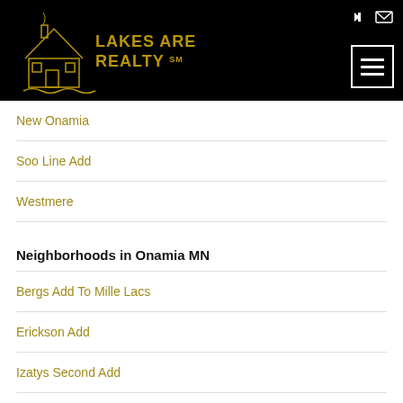[Figure (logo): Lakes Area Realty logo with house illustration in gold on black background]
New Onamia
Soo Line Add
Westmere
Neighborhoods in Onamia MN
Bergs Add To Mille Lacs
Erickson Add
Izatys Second Add